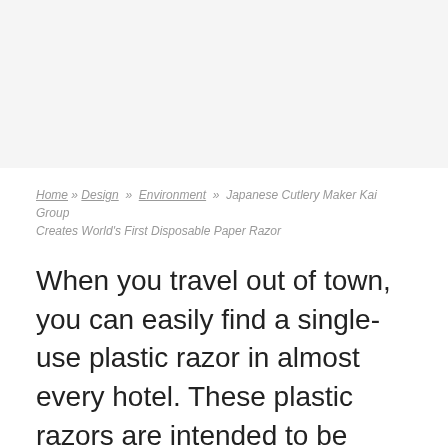Home » Design » Environment » Japanese Cutlery Maker Kai Group Creates World's First Disposable Paper Razor
When you travel out of town, you can easily find a single-use plastic razor in almost every hotel. These plastic razors are intended to be used once and discarded, which leads to plastic pollution. However, Kai Industries – a Japanese corporation, has come up with a solution in the form of a disposable paper razor that is 98% plastic-free.